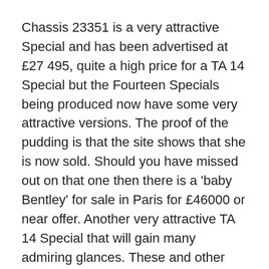Chassis 23351 is a very attractive Special and has been advertised at £27 495, quite a high price for a TA 14 Special but the Fourteen Specials being produced now have some very attractive versions. The proof of the pudding is that the site shows that she is now sold. Should you have missed out on that one then there is a 'baby Bentley' for sale in Paris for £46000 or near offer. Another very attractive TA 14 Special that will gain many admiring glances. These and other details can be seen on carandclassic.co.uk.
Chassis 22569 is a well known Carbodies in the Alvis Owner Club, her owner having held some of the highest positions in the Club. Currently based in Scotland she is well worth a look and again is shown on